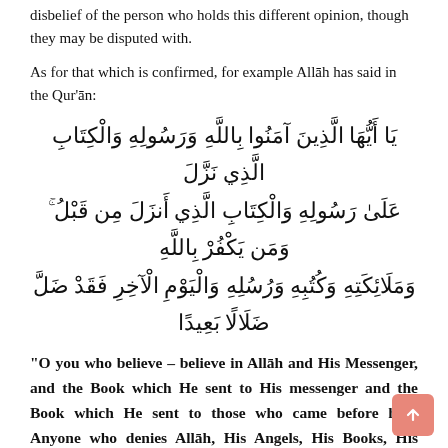disbelief of the person who holds this different opinion, though they may be disputed with.
As for that which is confirmed, for example Allāh has said in the Qur'ān:
[Figure (other): Arabic Quranic text from An-Nisaa 4:136]
“O you who believe – believe in Allāh and His Messenger, and the Book which He sent to His messenger and the Book which He sent to those who came before him. Anyone who denies Allāh, His Angels, His Books, His Messengers and the Day of Judgement has gone far astray.” [An-Nisaa, 4:136]
The verse makes it clear that belief in Islam is